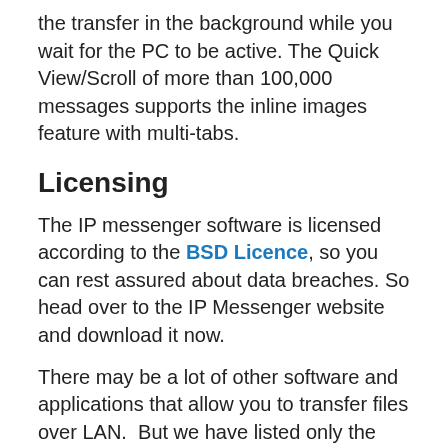the transfer in the background while you wait for the PC to be active. The Quick View/Scroll of more than 100,000 messages supports the inline images feature with multi-tabs.
Licensing
The IP messenger software is licensed according to the BSD Licence, so you can rest assured about data breaches. So head over to the IP Messenger website and download it now.
There may be a lot of other software and applications that allow you to transfer files over LAN.  But we have listed only the best and the easiest to use the software.  So that